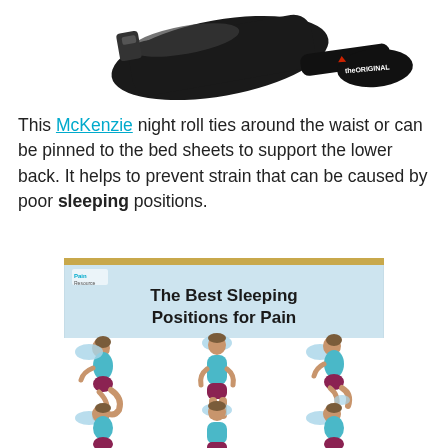[Figure (photo): Product photo of McKenzie night roll lumbar support with strap and 'theORIGINAL' branding]
This McKenzie night roll ties around the waist or can be pinned to the bed sheets to support the lower back. It helps to prevent strain that can be caused by poor sleeping positions.
[Figure (infographic): Infographic titled 'The Best Sleeping Positions for Pain' by Pain Resource, showing six illustrated sleeping positions with a person in various poses]